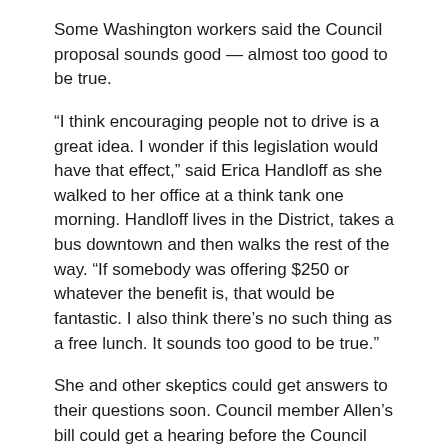Some Washington workers said the Council proposal sounds good — almost too good to be true.
“I think encouraging people not to drive is a great idea. I wonder if this legislation would have that effect,” said Erica Handloff as she walked to her office at a think tank one morning. Handloff lives in the District, takes a bus downtown and then walks the rest of the way. “If somebody was offering $250 or whatever the benefit is, that would be fantastic. I also think there’s no such thing as a free lunch. It sounds too good to be true.”
She and other skeptics could get answers to their questions soon. Council member Allen’s bill could get a hearing before the Council takes its summer recess in July.
Click here to read the original story.